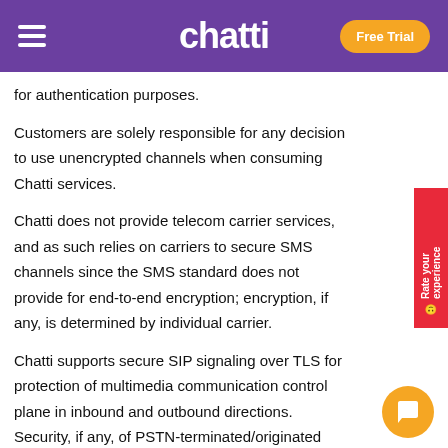chatti — Free Trial
for authentication purposes.
Customers are solely responsible for any decision to use unencrypted channels when consuming Chatti services.
Chatti does not provide telecom carrier services, and as such relies on carriers to secure SMS channels since the SMS standard does not provide for end-to-end encryption; encryption, if any, is determined by individual carrier.
Chatti supports secure SIP signaling over TLS for protection of multimedia communication control plane in inbound and outbound directions. Security, if any, of PSTN-terminated/originated SIP control channel is determined by